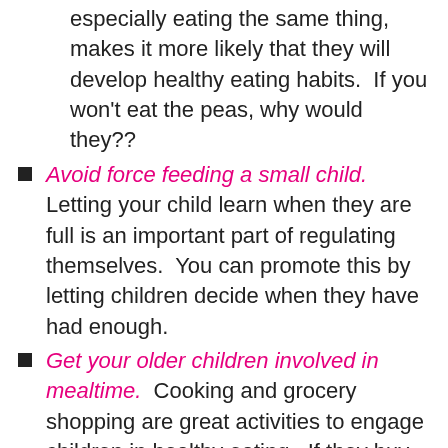especially eating the same thing, makes it more likely that they will develop healthy eating habits.  If you won't eat the peas, why would they??
Avoid force feeding a small child.  Letting your child learn when they are full is an important part of regulating themselves.  You can promote this by letting children decide when they have had enough.
Get your older children involved in mealtime.  Cooking and grocery shopping are great activities to engage children in healthy eating.  If they buy (or even plant!) the vegetable themselves, they are more likely to give